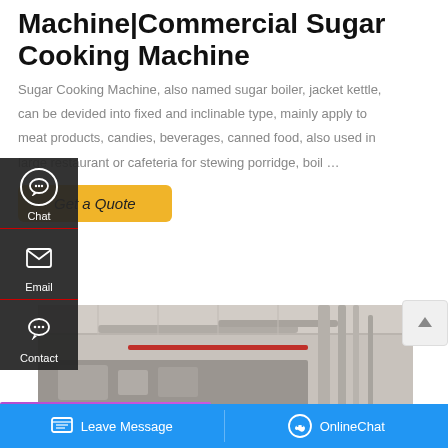Machine|Commercial Sugar Cooking Machine
Sugar Cooking Machine, also named sugar boiler, jacket kettle, can be devided into fixed and inclinable type, mainly apply to meat products, candies, beverages, canned food, also used in large restaurant or cafeteria for stewing porridge, boil …
Get a Quote
[Figure (photo): Industrial kitchen equipment - commercial sugar cooking machine with pipes and machinery]
[Figure (screenshot): Left sidebar overlay with Chat, Email, and Contact icons on dark background]
[Figure (screenshot): WhatsApp banner with Save Stickers on WhatsApp label and two contact icons]
Leave Message   OnlineChat